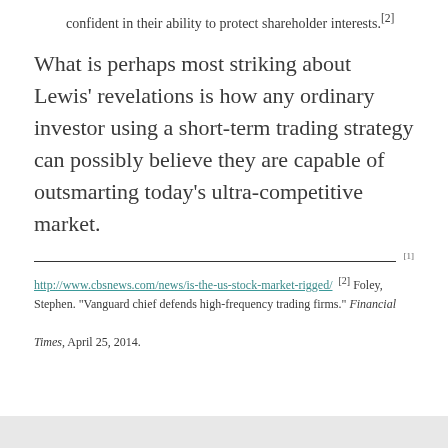confident in their ability to protect shareholder interests.[2]
What is perhaps most striking about Lewis' revelations is how any ordinary investor using a short-term trading strategy can possibly believe they are capable of outsmarting today's ultra-competitive market.
[1] http://www.cbsnews.com/news/is-the-us-stock-market-rigged/  [2] Foley, Stephen. "Vanguard chief defends high-frequency trading firms." Financial Times, April 25, 2014.